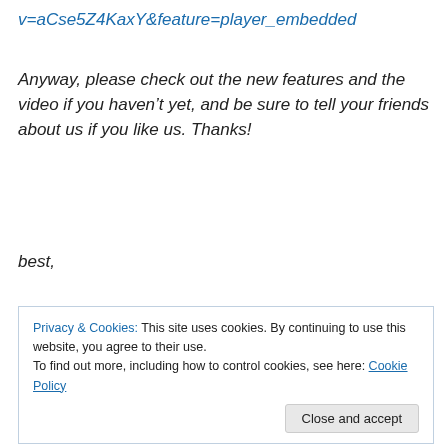v=aCse5Z4KaxY&feature=player_embedded
Anyway, please check out the new features and the video if you haven’t yet, and be sure to tell your friends about us if you like us. Thanks!
best,
Ethan Gahng
Lazy founder/CEO
Privacy & Cookies: This site uses cookies. By continuing to use this website, you agree to their use.
To find out more, including how to control cookies, see here: Cookie Policy
[Close and accept]